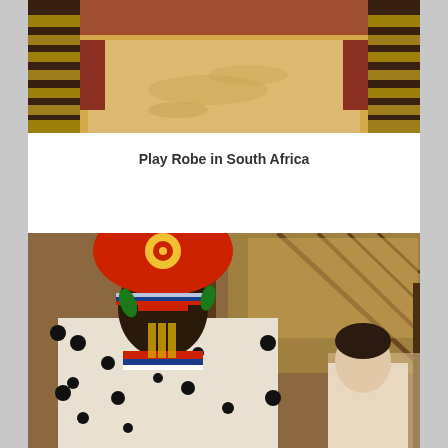[Figure (photo): Outdoor sandy ground area framed by dark wooden posts wrapped with rope/straw, with red and terracotta colored walls, viewed from inside looking outward]
Play Robe in South Africa
[Figure (photo): A person in traditional South African Zulu ceremonial dress wearing a large red painted gourd headdress with beaded decorations, animal skin garments, and colorful beaded jewelry, standing inside a thatched roof structure. A woman is partially visible to the right.]